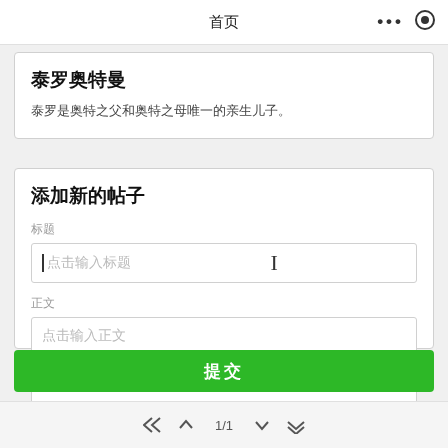首页
泰罗奥特曼
泰罗是奥特之父和奥特之母唯一的亲生儿子。
添加新的帖子
标题
点击输入标题
正文
点击输入正文
提交
1/1